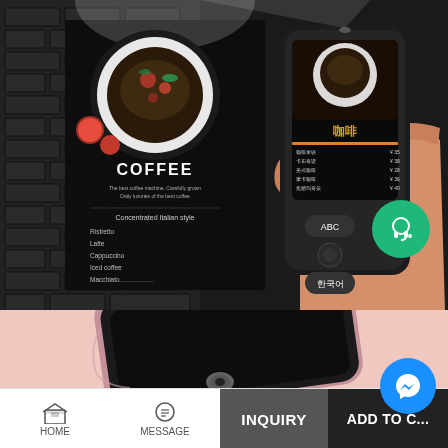[Figure (photo): A hand holding a black handheld translator/scanner device pointed at a dark coffee menu board showing 'COFFEE' text, a plate of food, and a list of coffee items. The device screen shows translated content. Dark brick wall background.]
[Figure (photo): Pink/rose gold colored handheld translator device laying on a pink background, showing the device from a low angle with its dark screen visible.]
[Figure (infographic): Green circular button with headset/customer support icon in top right area.]
[Figure (infographic): Blue circular button with Facebook Messenger lightning bolt icon in bottom right area.]
HOME  MESSAGE  INQUIRY  ADD TO CART